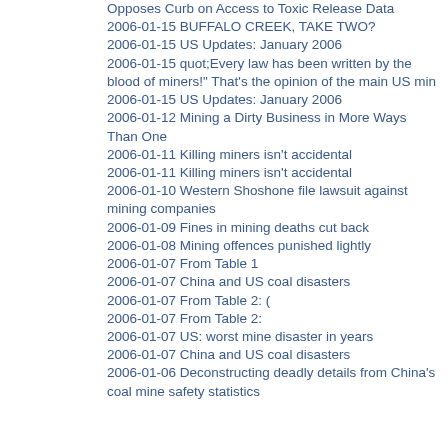Opposes Curb on Access to Toxic Release Data
2006-01-15 BUFFALO CREEK, TAKE TWO?
2006-01-15 US Updates: January 2006
2006-01-15 quot;Every law has been written by the blood of miners!" That's the opinion of the main US min
2006-01-15 US Updates: January 2006
2006-01-12 Mining a Dirty Business in More Ways Than One
2006-01-11 Killing miners isn't accidental
2006-01-11 Killing miners isn't accidental
2006-01-10 Western Shoshone file lawsuit against mining companies
2006-01-09 Fines in mining deaths cut back
2006-01-08 Mining offences punished lightly
2006-01-07 From Table 1
2006-01-07 China and US coal disasters
2006-01-07 From Table 2: (
2006-01-07 From Table 2:
2006-01-07 US: worst mine disaster in years
2006-01-07 China and US coal disasters
2006-01-06 Deconstructing deadly details from China's coal mine safety statistics